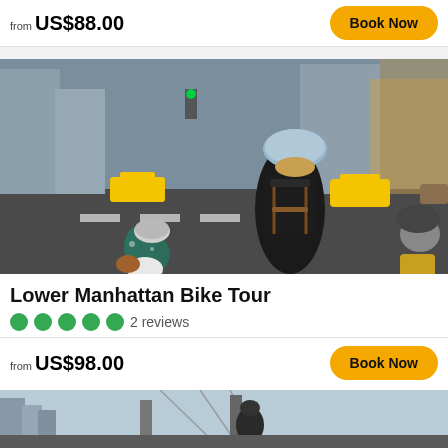from US$88.00
Book Now
[Figure (photo): Cyclists riding bikes in Lower Manhattan NYC street traffic with taxis and buildings in background, seen from behind]
Lower Manhattan Bike Tour
2 reviews
from US$98.00
Book Now
[Figure (photo): Cyclist on Brooklyn Bridge with city skyline in background]